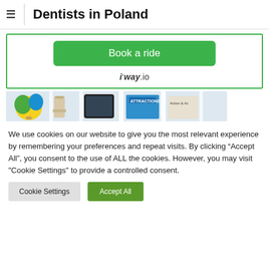Dentists in Poland
[Figure (other): Advertisement box with green 'Book a ride' button and i'way.io logo]
[Figure (photo): Horizontal strip of travel-themed book covers and magazine covers including Leaning Tower of Pisa, hot air balloon, and 'ATTRACTIONS' text]
We use cookies on our website to give you the most relevant experience by remembering your preferences and repeat visits. By clicking "Accept All", you consent to the use of ALL the cookies. However, you may visit "Cookie Settings" to provide a controlled consent.
Cookie Settings   Accept All